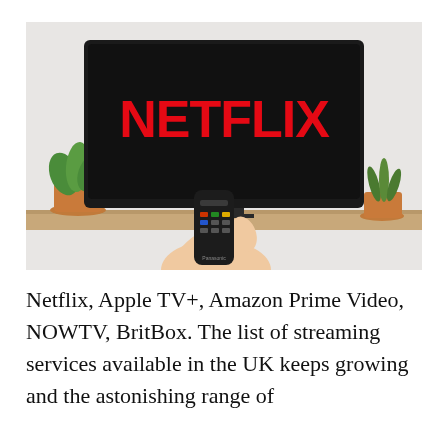[Figure (photo): A hand holding a TV remote pointed at a flat-screen television displaying the Netflix logo in orange on a black screen. Two potted plants are visible on either side of the TV on a wooden shelf. The background is a light grey/white wall.]
Netflix, Apple TV+, Amazon Prime Video, NOWTV, BritBox. The list of streaming services available in the UK keeps growing and the astonishing range of